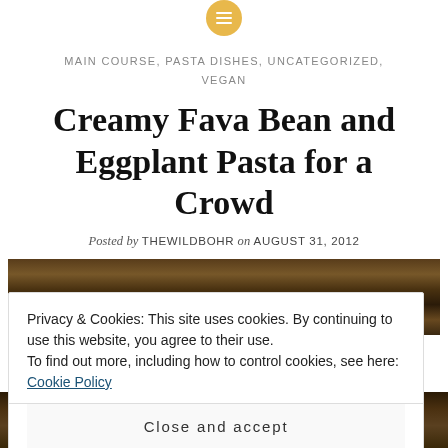[Figure (logo): Circular yellow/gold menu icon with three horizontal white lines]
MAIN COURSE, PASTA DISHES, UNCATEGORIZED, VEGAN
Creamy Fava Bean and Eggplant Pasta for a Crowd
Posted by THEWILDBOHR on AUGUST 31, 2012
[Figure (photo): Close-up food photo of creamy fava bean and eggplant pasta dish, dark brown/green tones]
Privacy & Cookies: This site uses cookies. By continuing to use this website, you agree to their use.
To find out more, including how to control cookies, see here: Cookie Policy
Close and accept